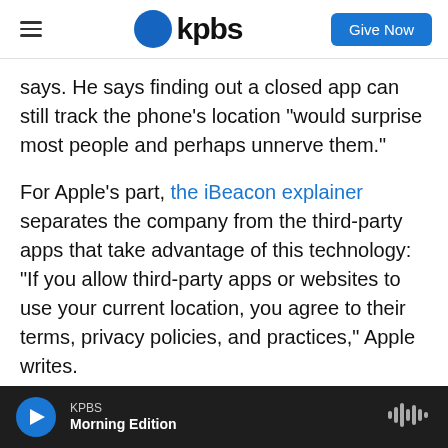KPBS — Give Now
says. He says finding out a closed app can still track the phone's location "would surprise most people and perhaps unnerve them."
For Apple's part, the iBeacon explainer separates the company from the third-party apps that take advantage of this technology: "If you allow third-party apps or websites to use your current location, you agree to their terms, privacy policies, and practices," Apple writes.
If iBeacon tracking unnerves you, there are still ways to turn it off. The simplest is to shut off the
KPBS Morning Edition